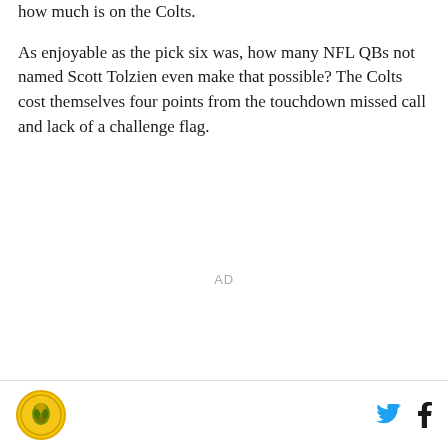how much is on the Colts.
As enjoyable as the pick six was, how many NFL QBs not named Scott Tolzien even make that possible? The Colts cost themselves four points from the touchdown missed call and lack of a challenge flag.
AD
[logo] [twitter] [facebook]